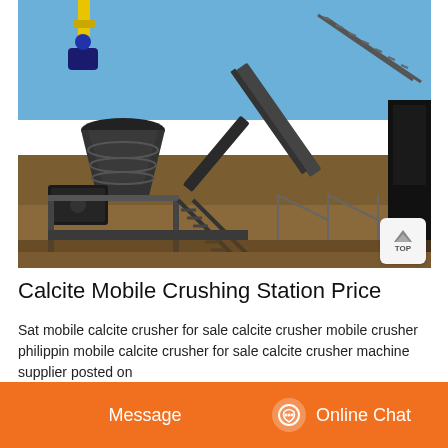[Figure (photo): Outdoor industrial mining/crushing site with large conveyor belts, a cone crusher, steel framework, stairs, and a yellow crane in the background under a clear blue sky.]
Calcite Mobile Crushing Station Price
Sat mobile calcite crusher for sale calcite crusher mobile crusher philippin mobile calcite crusher for sale calcite crusher machine supplier posted on for sale low prices jaw impact and cone crushers